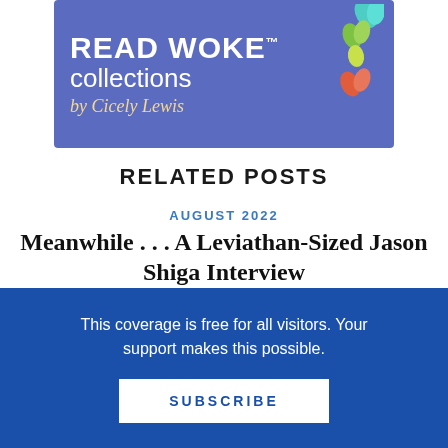[Figure (logo): Read Woke collections by Cicely Lewis banner on purple/blue background with colorful leaf illustrations]
RELATED POSTS
AUGUST 2022
Meanwhile . . . A Leviathan-Sized Jason Shiga Interview
by Betsy Bird
This coverage is free for all visitors. Your support makes this possible.
SUBSCRIBE